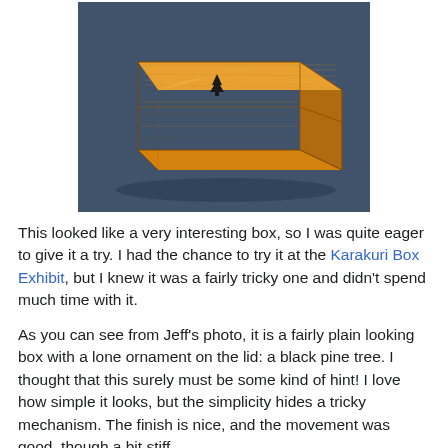[Figure (photo): A wooden puzzle box (Karakuri box) with a warm orange-brown finish, rectangular shape, sitting on a dark blue-grey surface. A small black pine tree ornament/inlay is visible on the top lid.]
This looked like a very interesting box, so I was quite eager to give it a try. I had the chance to try it at the Karakuri Box Exhibit, but I knew it was a fairly tricky one and didn't spend much time with it.
As you can see from Jeff's photo, it is a fairly plain looking box with a lone ornament on the lid: a black pine tree. I thought that this surely must be some kind of hint! I love how simple it looks, but the simplicity hides a tricky mechanism. The finish is nice, and the movement was good, though a bit stiff.